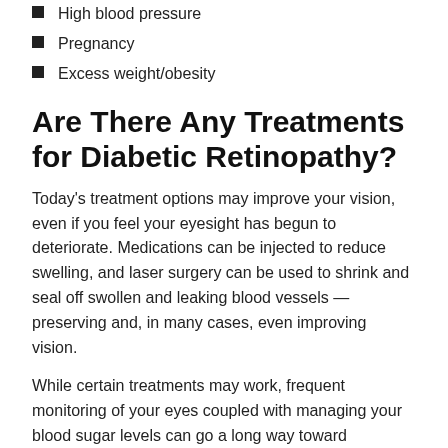High blood pressure
Pregnancy
Excess weight/obesity
Are There Any Treatments for Diabetic Retinopathy?
Today's treatment options may improve your vision, even if you feel your eyesight has begun to deteriorate. Medications can be injected to reduce swelling, and laser surgery can be used to shrink and seal off swollen and leaking blood vessels — preserving and, in many cases, even improving vision.
While certain treatments may work, frequent monitoring of your eyes coupled with managing your blood sugar levels can go a long way toward preventing or reducing diabetic retinopathy complications.
If You Have Diabetes, Make Sure to:
Control blood sugar and blood pressure to prevent long-term